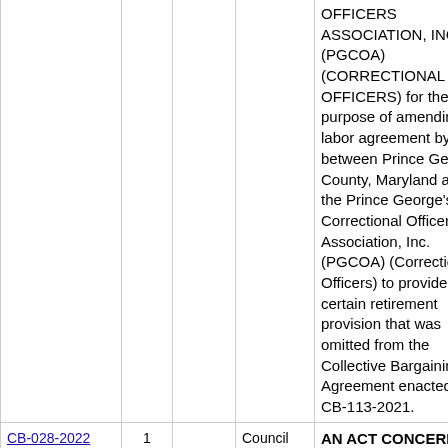| Bill Number | Sponsors | Co-Sponsors | Type | Title/Description | Status |
| --- | --- | --- | --- | --- | --- |
|  |  |  |  | OFFICERS ASSOCIATION, INC. (PGCOA) (CORRECTIONAL OFFICERS) for the purpose of amending the labor agreement by and between Prince George's County, Maryland and the Prince George's Correctional Officers' Association, Inc. (PGCOA) (Correctional Officers) to provide for a certain retirement provision that was omitted from the Collective Bargaining Agreement enacted by CB-113-2021. |  |
| CB-028-2022 | 1 |  | Council Bill | AN ACT CONCERNING AMENDMENT OF THE COLLECTIVE BARGAINING AGREEMENT PRINCE GEORGE'S CORRECTIONAL | ena |